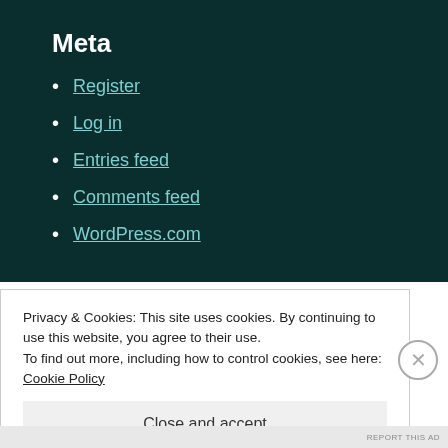Meta
Register
Log in
Entries feed
Comments feed
WordPress.com
Advertisements
[Figure (other): Red advertisement banner]
Privacy & Cookies: This site uses cookies. By continuing to use this website, you agree to their use.
To find out more, including how to control cookies, see here: Cookie Policy
Close and accept